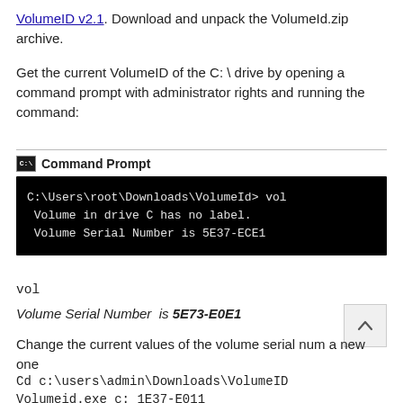VolumeID v2.1. Download and unpack the VolumeId.zip archive.
Get the current VolumeID of the C: \ drive by opening a command prompt with administrator rights and running the command:
[Figure (screenshot): Command Prompt window header with icon and label 'Command Prompt', followed by a black terminal showing: C:\Users\root\Downloads\VolumeId> vol  Volume in drive C has no label.  Volume Serial Number is 5E37-ECE1]
vol
Volume Serial Number  is 5E73-E0E1
Change the current values of the volume serial num a new one
Cd c:\users\admin\Downloads\VolumeID
Volumeid.exe c: 1E37-E011